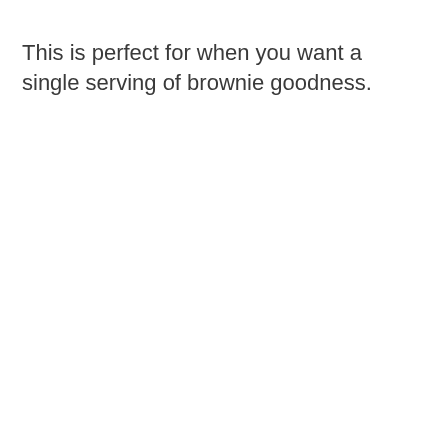This is perfect for when you want a single serving of brownie goodness.